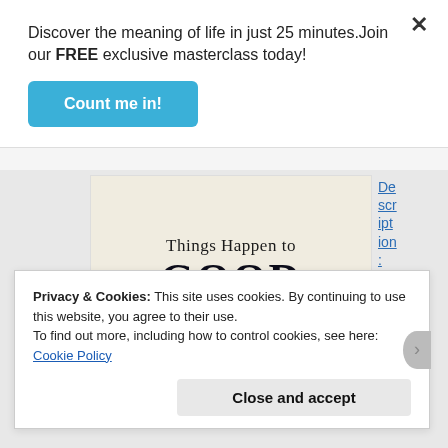Discover the meaning of life in just 25 minutes.Join our FREE exclusive masterclass today!
Count me in!
[Figure (illustration): Book cover showing text 'Things Happen to GOOD People']
Description:
Privacy & Cookies: This site uses cookies. By continuing to use this website, you agree to their use.
To find out more, including how to control cookies, see here: Cookie Policy
Close and accept